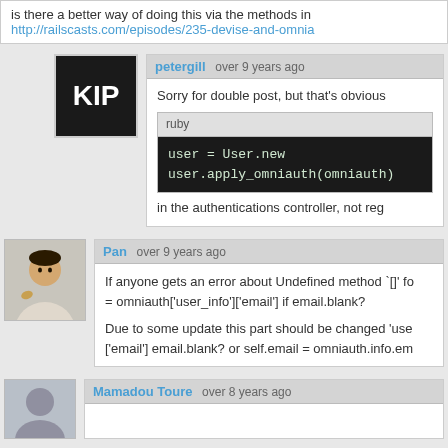is there a better way of doing this via the methods in http://railscasts.com/episodes/235-devise-and-omnia
petergill  over 9 years ago
Sorry for double post, but that's obvious
ruby
user = User.new
user.apply_omniauth(omniauth)
in the authentications controller, not reg
Pan  over 9 years ago
If anyone gets an error about Undefined method `[]' fo = omniauth['user_info']['email'] if email.blank?
Due to some update this part should be changed 'use ['email'] email.blank? or self.email = omniauth.info.em
Mamadou Toure  over 8 years ago